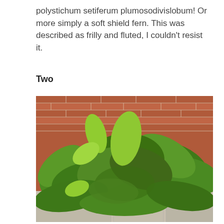polystichum setiferum plumosodivislobum! Or more simply a soft shield fern. This was described as frilly and fluted, I couldn't resist it.
Two
[Figure (photo): A photograph of a lush green fern plant with large, broad, deeply-lobed fronds spreading outward, photographed against a red brick wall background with a stone/concrete surface in the foreground.]